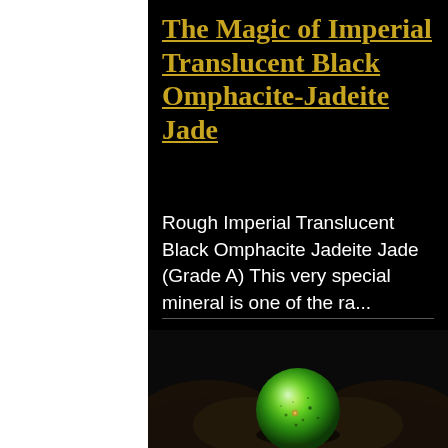The Magic of Imperial Translucent Black Omphacite-Jadeite Jade
Rough Imperial Translucent Black Omphacite Jadeite Jade (Grade A) This very special mineral is one of the ra...
[Figure (photo): A bright green jade sphere/cabochon resting on dark curved stones against a black background. The jade stone is vivid green with small dark speckles, polished to a high gloss.]